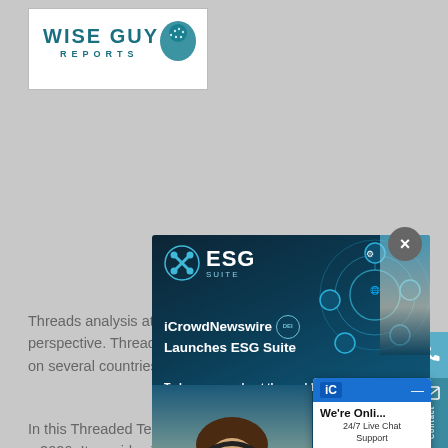[Figure (logo): Wise Guy Reports logo - teal text with head/brain graphic]
Threads analysis at country level, regional and global perspective. Thread Tees market size and future analysis, trends on several countries including China and Japan.
In this Thread Tees, data regarding this industry 2020 – 2026. It provides Threaded Tees market
[Figure (screenshot): ESG Suite popup modal overlay showing iCrowdNewswire Launches ESG Suite with technology background, woman using tablet, and text: To learn more about the world of global ESG communications:]
[Figure (screenshot): Live chat widget showing iC logo, We're Onli... text, 24/7 Live Chat Support, and Chat no... button]